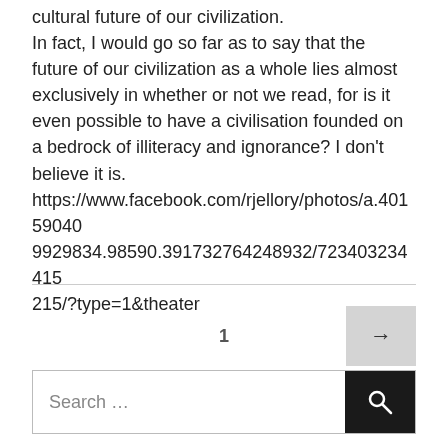cultural future of our civilization. In fact, I would go so far as to say that the future of our civilization as a whole lies almost exclusively in whether or not we read, for is it even possible to have a civilisation founded on a bedrock of illiteracy and ignorance? I don't believe it is. https://www.facebook.com/rjellory/photos/a.401590409929834.98590.391732764248932/723403234415215/?type=1&theater
1 →
Search …